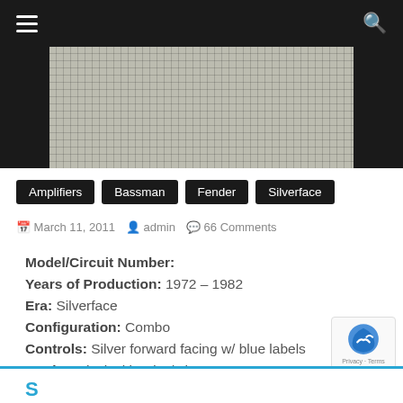≡  Q
[Figure (photo): Close-up photograph of a Fender Bassman Silverface amplifier speaker grille cloth with a grid/mesh pattern, flanked by black side panels.]
Amplifiers
Bassman
Fender
Silverface
March 11, 2011   admin   66 Comments
Model/Circuit Number:
Years of Production: 1972 – 1982
Era: Silverface
Configuration: Combo
Controls: Silver forward facing w/ blue labels
Knobs: Black skirted w/ chrome center, numbered 1 – 10